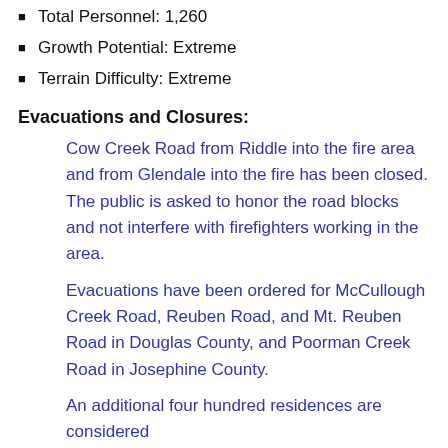Total Personnel: 1,260
Growth Potential: Extreme
Terrain Difficulty: Extreme
Evacuations and Closures:
Cow Creek Road from Riddle into the fire area and from Glendale into the fire has been closed. The public is asked to honor the road blocks and not interfere with firefighters working in the area.
Evacuations have been ordered for McCullough Creek Road, Reuben Road, and Mt. Reuben Road in Douglas County, and Poorman Creek Road in Josephine County.
An additional four hundred residences are considered threat. This area some action would be...